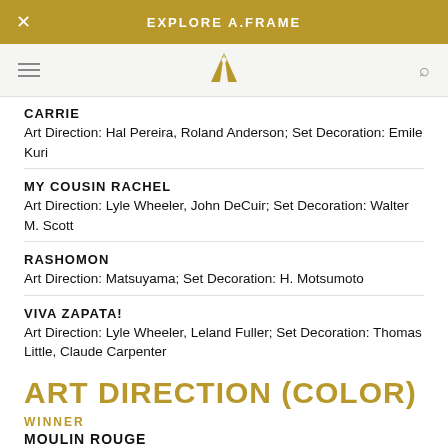EXPLORE A.FRAME
CARRIE
Art Direction: Hal Pereira, Roland Anderson; Set Decoration: Emile Kuri
MY COUSIN RACHEL
Art Direction: Lyle Wheeler, John DeCuir; Set Decoration: Walter M. Scott
RASHOMON
Art Direction: Matsuyama; Set Decoration: H. Motsumoto
VIVA ZAPATA!
Art Direction: Lyle Wheeler, Leland Fuller; Set Decoration: Thomas Little, Claude Carpenter
ART DIRECTION (COLOR)
WINNER
MOULIN ROUGE